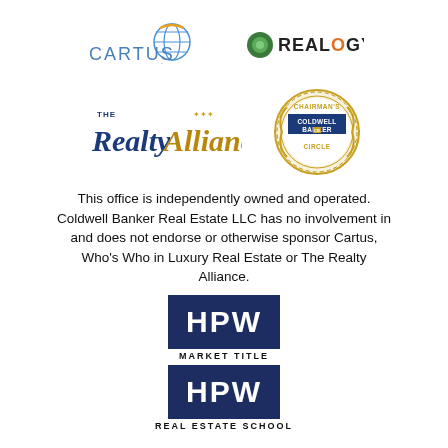[Figure (logo): Cartus logo with globe icon and blue text]
[Figure (logo): Realogy logo with green swirl icon and dark text]
[Figure (logo): The Realty Alliance logo in blue and gold]
[Figure (logo): Coldwell Banker Chairman's Circle badge in gold]
This office is independently owned and operated. Coldwell Banker Real Estate LLC has no involvement in and does not endorse or otherwise sponsor Cartus, Who's Who in Luxury Real Estate or The Realty Alliance.
[Figure (logo): HPW Market Title logo - dark blue box with HPW in white, MARKET TITLE below]
[Figure (logo): HPW Real Estate School logo - dark blue box with HPW in white, REAL ESTATE SCHOOL below]